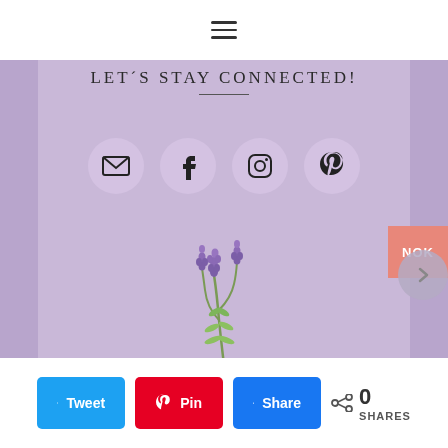≡ (hamburger menu icon)
LET´S STAY CONNECTED!
[Figure (illustration): Four social media icon circles: email/envelope, Facebook, Instagram, Pinterest]
[Figure (illustration): Lavender flower sprig illustration on purple background]
Tweet | Pin | Share | 0 SHARES